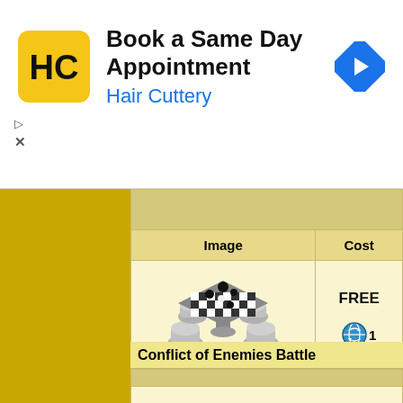[Figure (screenshot): Advertisement banner for Hair Cuttery showing logo, 'Book a Same Day Appointment' heading, and navigation arrow icon]
Book a Same Day Appointment
Hair Cuttery
[Figure (screenshot): Game wiki screenshot showing a chess/checkers table item with Image and Cost columns. Cost shows FREE and 1 globe coin icon.]
| Image | Cost |
| --- | --- |
| [chess table image] | FREE
⊕1 |
Conflict of Enemies Battle
|  |
|  |